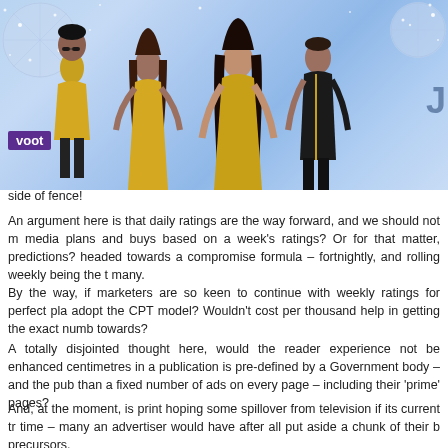[Figure (photo): Promotional banner for a TV show on Voot streaming platform, featuring four celebrities in glamorous gold outfits against a sparkling disco ball background. A purple Voot logo is visible at the bottom left of the banner.]
side of fence!
An argument here is that daily ratings are the way forward, and we should not m media plans and buys based on a week's ratings? Or for that matter, predictions? headed towards a compromise formula – fortnightly, and rolling weekly being the t many.
By the way, if marketers are so keen to continue with weekly ratings for perfect pla adopt the CPT model? Wouldn't cost per thousand help in getting the exact numb towards?
A totally disjointed thought here, would the reader experience not be enhanced centimetres in a publication is pre-defined by a Government body – and the pub than a fixed number of ads on every page – including their 'prime' pages?
And, at the moment, is print hoping some spillover from television if its current tr time – many an advertiser would have after all put aside a chunk of their b precursors.